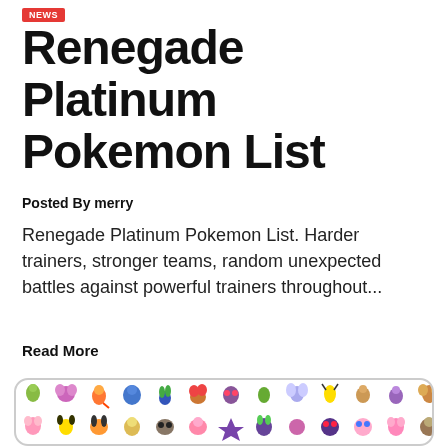NEWS
Renegade Platinum Pokemon List
Posted By merry
Renegade Platinum Pokemon List. Harder trainers, stronger teams, random unexpected battles against powerful trainers throughout...
Read More
[Figure (illustration): A grid of colorful Pokemon sprite illustrations arranged in rows inside a rounded rectangle border]